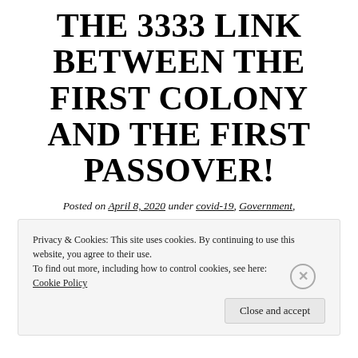THE 3333 LINK BETWEEN THE FIRST COLONY AND THE FIRST PASSOVER!
Posted on April 8, 2020 under covid-19, Government, Passover, prophecy, Religion, Uncategorized, USA, Virginia, WashingtonDC
Privacy & Cookies: This site uses cookies. By continuing to use this website, you agree to their use. To find out more, including how to control cookies, see here: Cookie Policy